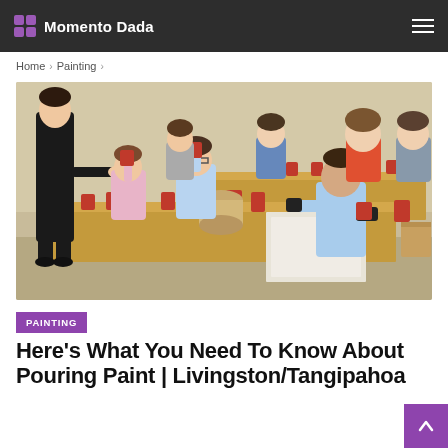Momento Dada
Home > Painting >
[Figure (photo): A classroom-style paint pouring workshop with people seated at tables covered with red Solo cups of paint. An instructor in black stands at left distributing cups. Participants of various ages are mixing and pouring paint. Natural light from unseen windows. Tables are wooden, background wall is beige.]
PAINTING
Here's What You Need To Know About Pouring Paint | Livingston/Tangipahoa